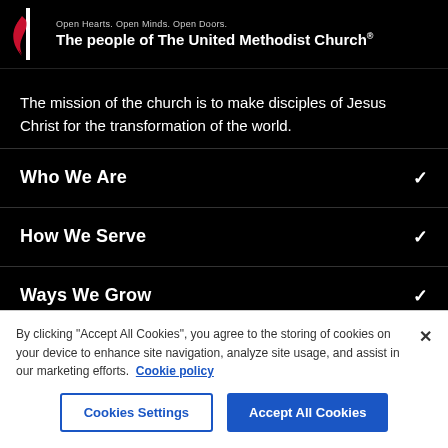Open Hearts. Open Minds. Open Doors. The people of The United Methodist Church®
The mission of the church is to make disciples of Jesus Christ for the transformation of the world.
Who We Are
How We Serve
Ways We Grow
By clicking "Accept All Cookies", you agree to the storing of cookies on your device to enhance site navigation, analyze site usage, and assist in our marketing efforts.  Cookie policy